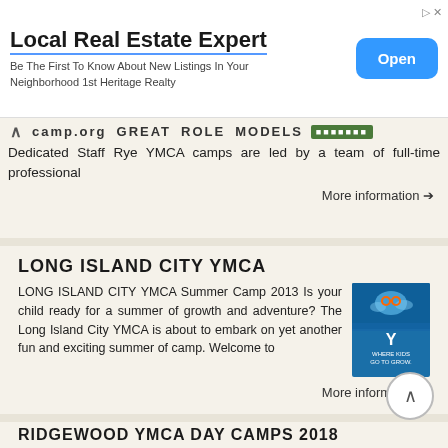[Figure (infographic): Advertisement banner for Local Real Estate Expert - 1st Heritage Realty with Open button]
camp.org   GREAT   ROLE   MODELS   Dedicated Staff Rye YMCA camps are led by a team of full-time professional
More information →
LONG ISLAND CITY YMCA
LONG ISLAND CITY YMCA Summer Camp 2013 Is your child ready for a summer of growth and adventure? The Long Island City YMCA is about to embark on yet another fun and exciting summer of camp. Welcome to
More information →
RIDGEWOOD YMCA DAY CAMPS 2018